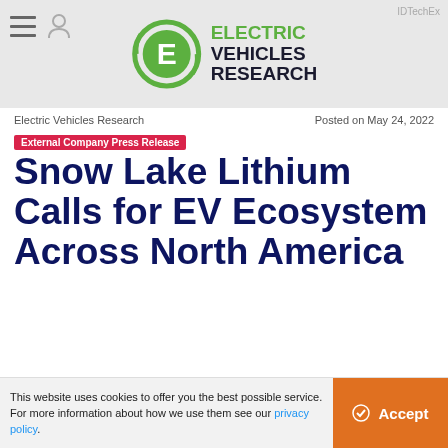Electric Vehicles Research — IDTechEx
Electric Vehicles Research
Posted on May 24, 2022
External Company Press Release
Snow Lake Lithium Calls for EV Ecosystem Across North America
This website uses cookies to offer you the best possible service. For more information about how we use them see our privacy policy.